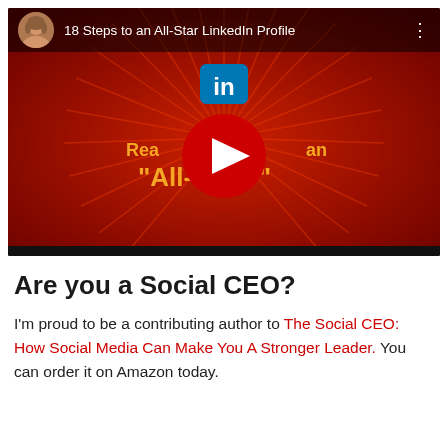[Figure (screenshot): YouTube video thumbnail showing '18 Steps to an All-Star LinkedIn Profile' with a red background, LinkedIn logo, play button, and text 'Reach an All-Star?' partially obscured by red play button. Top bar shows avatar photo of a woman and the video title.]
Are you a Social CEO?
I'm proud to be a contributing author to The Social CEO: How Social Media Can Make You A Stronger Leader. You can order it on Amazon today.